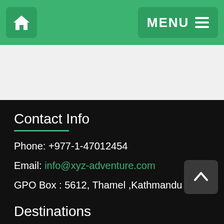Home | MENU
Contact Info
Phone: +977-1-47012454
Email: info@xyz-adventure.com
GPO Box : 5612, Thamel ,Kathmandu
Fax Number: 503-555-1213
Destinations